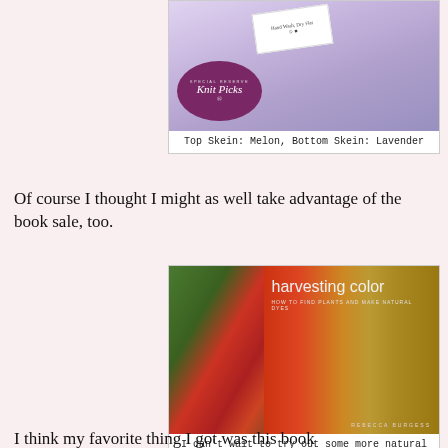[Figure (photo): Photo of a lavender/purple skein of yarn with a Knit Picks Special Reserve label showing a purple circular logo]
Top Skein: Melon, Bottom Skein: Lavender
Of course I thought I might as well take advantage of the book sale, too.
[Figure (photo): Photo of the book 'harvesting color: how to find plants and make natural dyes' by Rebecca Burgess, showing flowers and yarn on the cover]
I can't wait to try out some more natural dyeing
I think my favorite thing I got was this book